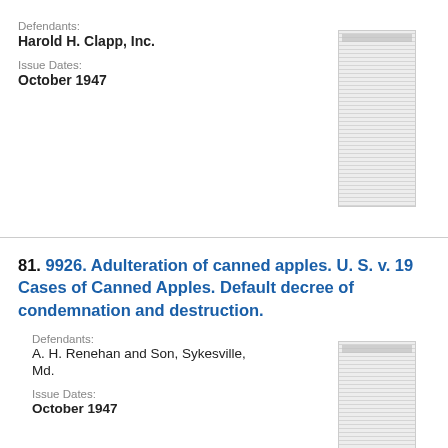Defendants:
Harold H. Clapp, Inc.
Issue Dates:
October 1947
[Figure (other): Thumbnail image of a legal document page]
81. 9926. Adulteration of canned apples. U. S. v. 19 Cases of Canned Apples. Default decree of condemnation and destruction.
Defendants:
A. H. Renehan and Son, Sykesville, Md.
Issue Dates:
October 1947
[Figure (other): Thumbnail image of a legal document page]